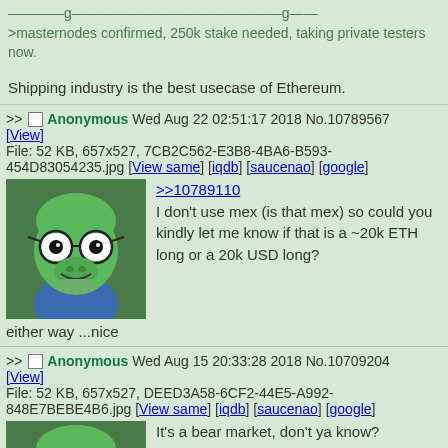>masternodes confirmed, 250k stake needed, taking private testers now.

Shipping industry is the best usecase of Ethereum.
>> Anonymous Wed Aug 22 02:51:17 2018 No.10789567
[View]
File: 52 KB, 657x527, 7CB2C562-E3B8-4BA6-B593-454D83054235.jpg [View same] [iqdb] [saucenao] [google]
[Figure (illustration): Pepe the frog wearing blue glasses and a blue shirt, looking thoughtful with hand near mouth]
>>10789110
I don't use mex (is that mex) so could you kindly let me know if that is a ~20k ETH long or a 20k USD long?
either way ...nice
>> Anonymous Wed Aug 15 20:33:28 2018 No.10709204
[View]
File: 52 KB, 657x527, DEED3A58-6CF2-44E5-A992-848E7BEBE4B6.jpg [View same] [iqdb] [saucenao] [google]
[Figure (illustration): Pepe the frog wearing blue glasses, looking sad/dejected]
It's a bear market, don't ya know?